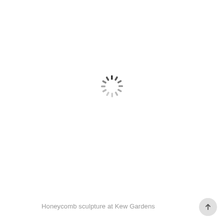[Figure (other): A loading spinner icon (circular dashed ring) centered on a white background, indicating content is loading.]
Honeycomb sculpture at Kew Gardens